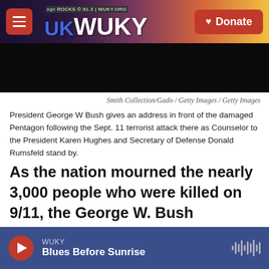UK WUKY NPR ROCKS 91.3 | WUKY.ORG   ♥ Donate
[Figure (photo): Black image area below header — damaged Pentagon photo]
Smith Collection/Gado / Getty Images / Getty Images
President George W Bush gives an address in front of the damaged Pentagon following the Sept. 11 terrorist attack there as Counselor to the President Karen Hughes and Secretary of Defense Donald Rumsfeld stand by.
As the nation mourned the nearly 3,000 people who were killed on 9/11, the George W. Bush administration frantically tried to find its footing and prevent what many feared would be a second wave of attacks.
WUKY  Blues Before Sunrise